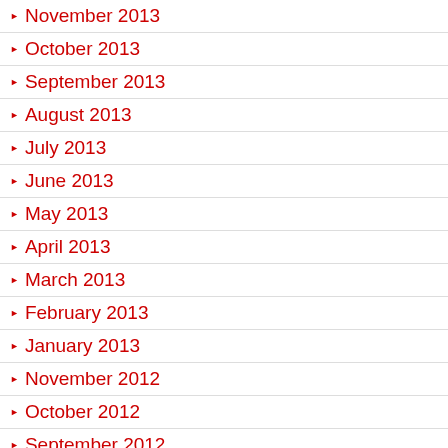November 2013
October 2013
September 2013
August 2013
July 2013
June 2013
May 2013
April 2013
March 2013
February 2013
January 2013
November 2012
October 2012
September 2012